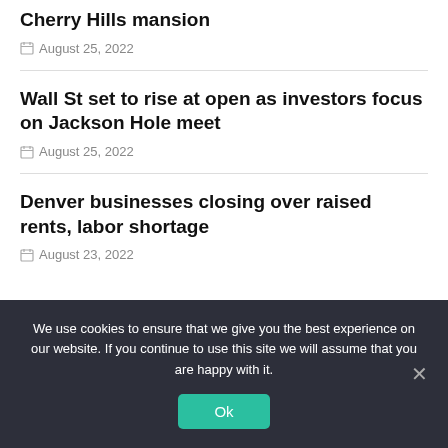Cherry Hills mansion
August 25, 2022
Wall St set to rise at open as investors focus on Jackson Hole meet
August 25, 2022
Denver businesses closing over raised rents, labor shortage
August 23, 2022
We use cookies to ensure that we give you the best experience on our website. If you continue to use this site we will assume that you are happy with it.